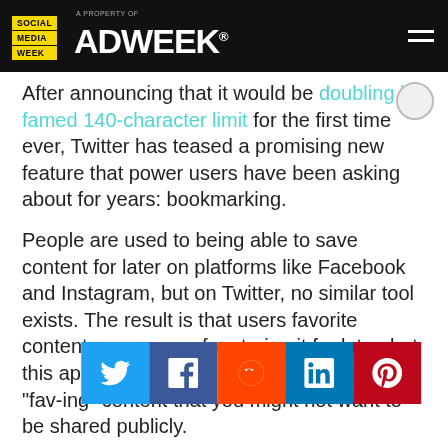Social Media Week — A Property of ADWEEK
After announcing that it would be doubling its famed 140-character limit for the first time ever, Twitter has teased a promising new feature that power users have been asking about for years: bookmarking.
People are used to being able to save content for later on platforms like Facebook and Instagram, but on Twitter, no similar tool exists. The result is that users favorite content as a means for storing it for later, but this approach can mean "fav-ing" content that you might not want to be shared publicly.
[Figure (infographic): Social share buttons row: Twitter (blue), Facebook (dark blue), Reddit (orange-red), LinkedIn (blue), Pinterest (red)]